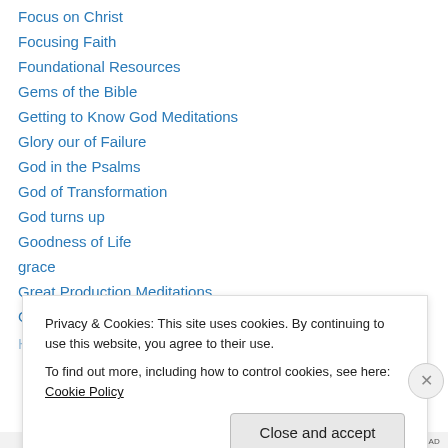Focus on Christ
Focusing Faith
Foundational Resources
Gems of the Bible
Getting to Know God Meditations
Glory our of Failure
God in the Psalms
God of Transformation
God turns up
Goodness of Life
grace
Great Production Meditations
Great Themes in John
Privacy & Cookies: This site uses cookies. By continuing to use this website, you agree to their use. To find out more, including how to control cookies, see here: Cookie Policy
Close and accept